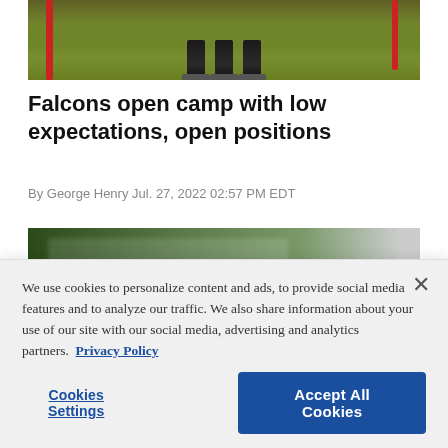[Figure (photo): Sports photo showing football players' legs and feet at practice, with red poles visible, on a green grass field]
Falcons open camp with low expectations, open positions
By George Henry Jul. 27, 2022 02:57 PM EDT
[Figure (photo): Second sports photo, partially visible, showing players on a field with blurred text overlay]
We use cookies to personalize content and ads, to provide social media features and to analyze our traffic. We also share information about your use of our site with our social media, advertising and analytics partners.  Privacy Policy
Cookies Settings   Accept All Cookies